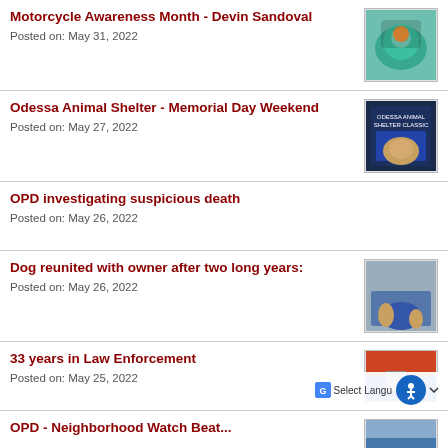Motorcycle Awareness Month - Devin Sandoval
Posted on: May 31, 2022
Odessa Animal Shelter - Memorial Day Weekend
Posted on: May 27, 2022
OPD investigating suspicious death
Posted on: May 26, 2022
Dog reunited with owner after two long years:
Posted on: May 26, 2022
33 years in Law Enforcement
Posted on: May 25, 2022
OPD - Neighborhood Watch Beat...